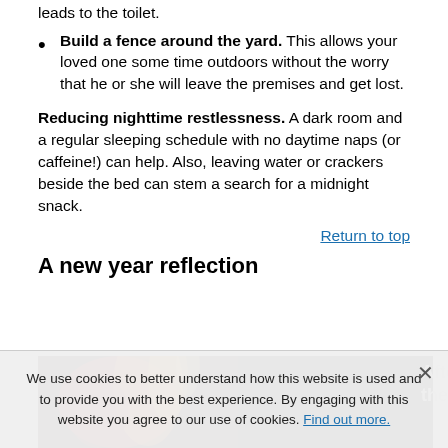leads to the toilet.
Build a fence around the yard. This allows your loved one some time outdoors without the worry that he or she will leave the premises and get lost.
Reducing nighttime restlessness. A dark room and a regular sleeping schedule with no daytime naps (or caffeine!) can help. Also, leaving water or crackers beside the bed can stem a search for a midnight snack.
Return to top
A new year reflection
[Figure (photo): Photo strip showing flames/fire on dark background with text 'After the' visible on the right side]
We use cookies to better understand how this website is used and to provide you with the best experience. By engaging with this website you agree to our use of cookies. Find out more.